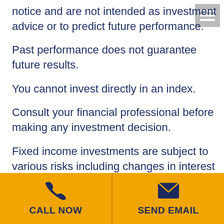notice and are not intended as investment advice or to predict future performance.
Past performance does not guarantee future results.
You cannot invest directly in an index.
Consult your financial professional before making any investment decision.
Fixed income investments are subject to various risks including changes in interest rates, credit quality, inflation risk, market valuations, prepayments, corporate events, tax ramifications and other factors.
These are the views of Platinum Advisor
[Figure (other): Hamburger menu icon (three horizontal lines) in a grey square, top right corner]
CALL NOW | SEND EMAIL